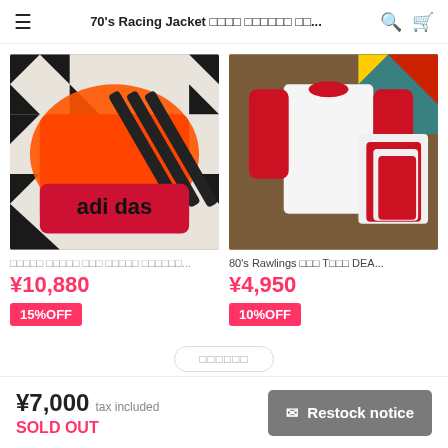70's Racing Jacket　□□□□ □□□□□□ □□...
[Figure (photo): Orange/red adidas tracksuit top with black three stripes, laid flat on a black and white geometric patterned rug]
□□□□□ □□□□□ □□□ □□□□□ □□□□□□...
¥10,880
15%OFF
[Figure (photo): White and red raglan baseball t-shirts with red sleeves, multiple shirts displayed on a wooden surface with a patterned rug background]
80's Rawlings □□□ T□□□ DEA...
¥4,950
10%OFF
□□□□□□
¥7,000 tax included
SOLD OUT
✉ Restock notice